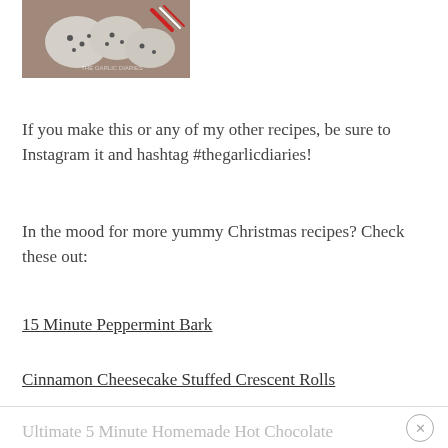[Figure (photo): Photo of peppermint chocolate cookies on a wooden surface with candy canes, with a watermark in the bottom right corner]
If you make this or any of my other recipes, be sure to Instagram it and hashtag #thegarlicdiaries!
In the mood for more yummy Christmas recipes? Check these out:
15 Minute Peppermint Bark
Cinnamon Cheesecake Stuffed Crescent Rolls
Ultimate 5 Minute Homemade Hot Chocolate